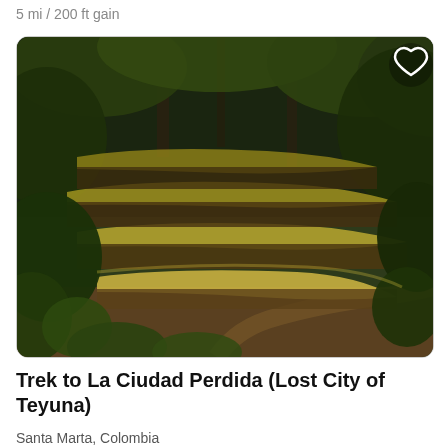5 mi / 200 ft gain
[Figure (photo): Terraced stone ruins of La Ciudad Perdida (Lost City of Teyuna) in a jungle setting, with moss-covered ancient stone terraces and lush green forest surroundings.]
Trek to La Ciudad Perdida (Lost City of Teyuna)
Santa Marta, Colombia